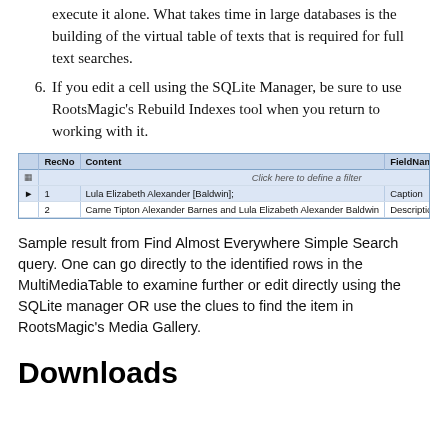execute it alone. What takes time in large databases is the building of the virtual table of texts that is required for full text searches.
6. If you edit a cell using the SQLite Manager, be sure to use RootsMagic's Rebuild Indexes tool when you return to working with it.
[Figure (screenshot): SQLite Manager query result table showing RecNo, Content, FieldName, TableName, Rownum columns. Row 1: 1, Lula Elizabeth Alexander [Baldwin];, Caption, MultiMediaTable, 6. Row 2: 2, Carne Tipton Alexander Barnes and Lula Elizabeth Alexander Baldwin, Description, MultiMediaTable, 5.]
Sample result from Find Almost Everywhere Simple Search query. One can go directly to the identified rows in the MultiMediaTable to examine further or edit directly using the SQLite manager OR use the clues to find the item in RootsMagic's Media Gallery.
Downloads